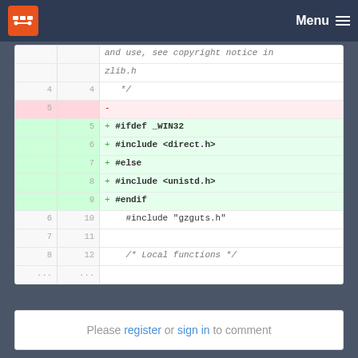Menu
[Figure (screenshot): Code diff view showing lines 4-12 with one removed line (line 5, a blank line) and five added lines (5-9: #ifdef _WIN32, #include <direct.h>, #else, #include <unistd.h>, #endif). Also shows lines 6-8 (old) / 10-12 (new): #include "gzguts.h", blank, /* Local functions */.]
Please register or sign in to comment